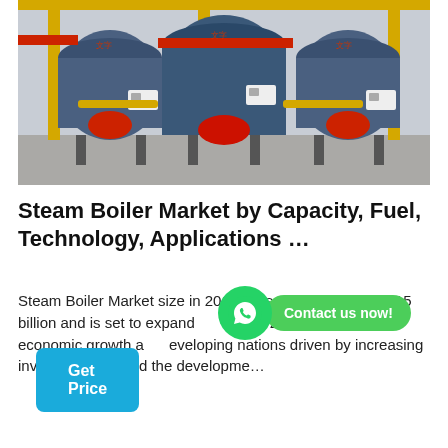[Figure (photo): Industrial steam boilers in a factory setting — three large blue cylindrical boilers with red burners and yellow piping, arranged side by side on a concrete floor with overhead yellow beams and control panels.]
Steam Boiler Market by Capacity, Fuel, Technology, Applications …
Steam Boiler Market size in 2018, was valued over USD 15 billion and is set to expand % by 2025. Resurgent economic growth a developing nations driven by increasing investments toward the developme…
[Figure (other): WhatsApp contact button: green WhatsApp icon circle with 'Contact us now!' green pill-shaped text bubble overlay]
Get Price